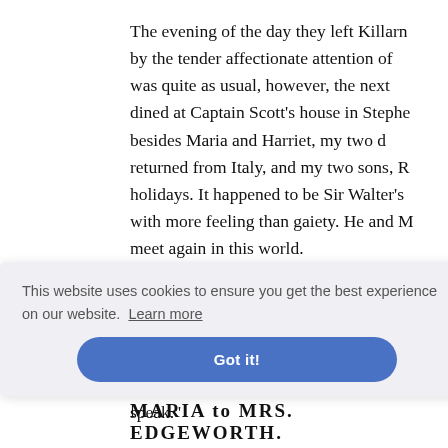The evening of the day they left Killarn by the tender affectionate attention of was quite as usual, however, the next dined at Captain Scott's house in Stephe besides Maria and Harriet, my two d returned from Italy, and my two sons, R holidays. It happened to be Sir Walter's with more feeling than gaiety. He and M meet again in this world.
* * * * *
Twenty-five years later we find Miss E , "with al umour— speak."
MARIA to MRS. EDGEWORTH.
This website uses cookies to ensure you get the best experience on our website. Learn more
Got it!